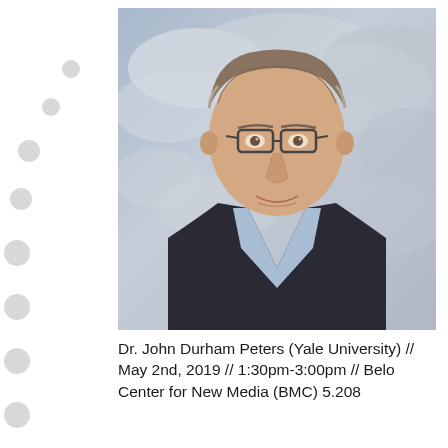[Figure (photo): Professional headshot portrait of Dr. John Durham Peters, an older man with grey-brown hair, wearing glasses, a dark blazer and light blue shirt, posed against a painted cloud/sky background.]
Dr. John Durham Peters (Yale University) // May 2nd, 2019 // 1:30pm-3:00pm // Belo Center for New Media (BMC) 5.208